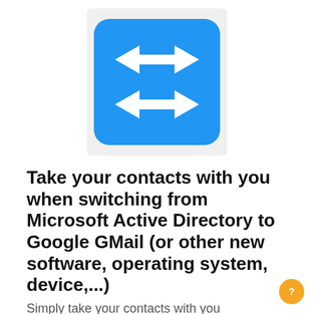[Figure (logo): App icon showing a blue rounded square with four white arrows pointing in alternating left and right directions (two rows of two arrows), representing contact transfer/switching functionality]
Take your contacts with you when switching from Microsoft Active Directory to Google GMail (or other new software, operating system, device,...)
Simply take your contacts with you